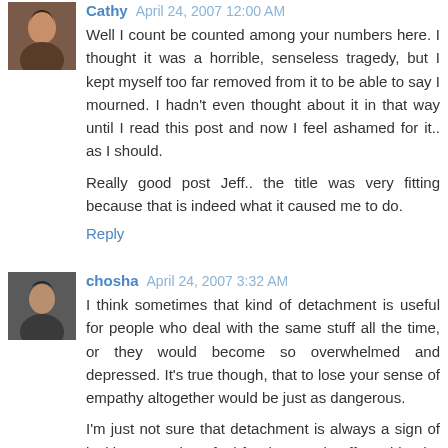Cathy April 24, 2007 12:00 AM
Well I count be counted among your numbers here. I thought it was a horrible, senseless tragedy, but I kept myself too far removed from it to be able to say I mourned. I hadn't even thought about it in that way until I read this post and now I feel ashamed for it.. as I should.

Really good post Jeff.. the title was very fitting because that is indeed what it caused me to do.
Reply
chosha April 24, 2007 3:32 AM
I think sometimes that kind of detachment is useful for people who deal with the same stuff all the time, or they would become so overwhelmed and depressed. It's true though, that to lose your sense of empathy altogether would be just as dangerous.

I'm just not sure that detachment is always a sign of lacking empathy. I feel for the people affected by the VT shooting, but I also feel like mourning would be almost inappropriate